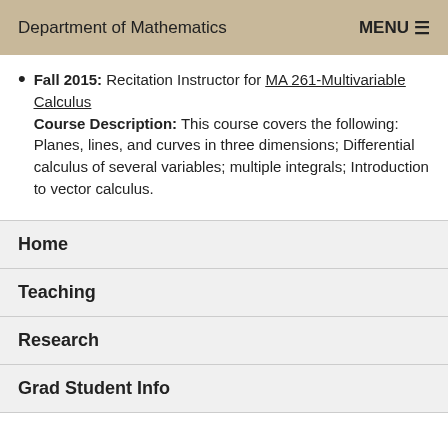Department of Mathematics   MENU ☰
Fall 2015: Recitation Instructor for MA 261-Multivariable Calculus
Course Description: This course covers the following: Planes, lines, and curves in three dimensions; Differential calculus of several variables; multiple integrals; Introduction to vector calculus.
Home
Teaching
Research
Grad Student Info